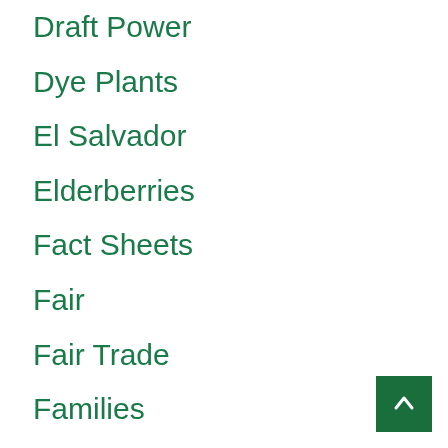Draft Power
Dye Plants
El Salvador
Elderberries
Fact Sheets
Fair
Fair Trade
Families
Farmer Resources
Farmer to Farmer
Farmers Markets
Farming
Feed
Fiber
Fish
Flowers
Forestry
Fruit
Gardening
Garlic